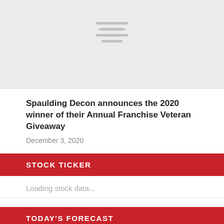[Figure (illustration): Light gray placeholder image with hamburger/menu icon lines centered near top]
Spaulding Decon announces the 2020 winner of their Annual Franchise Veteran Giveaway
December 3, 2020
STOCK TICKER
Loading stock data...
TODAY'S FORECAST
OTTAWA